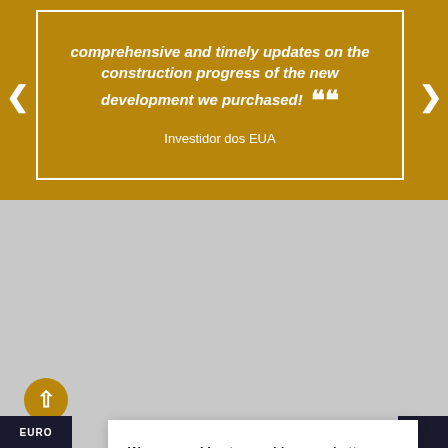comprehensive and timely updates on the construction progress of the new development we purchased! Investidor dos EUA
We use cookies to provide you a better service, for measurement and analytics purposes. By continuing to use this website you consent to our use of cookies as described in our Privacy Policy.
Accept